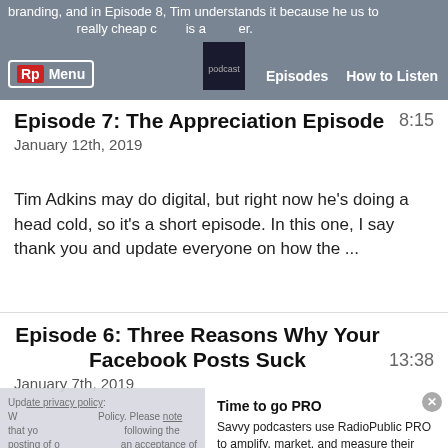branding, and in Episode 8, Tim understands it because he us to Menu really cheap c is a Rp Episodes How to Listen
Episode 7: The Appreciation Episode
January 12th, 2019   8:15
Tim Adkins may do digital, but right now he's doing a head cold, so it's a short episode. In this one, I say thank you and update everyone on how the ...
Episode 6: Three Reasons Why Your Facebook Posts Suck
January 7th, 2019   13:38
Time to go PRO
Savvy podcasters use RadioPublic PRO to amplify, market, and measure their shows through enhanced embeds, smart sharing, and calls to action that convert.
Get started